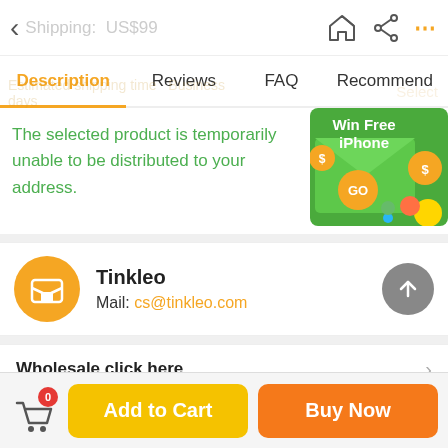< Shipping: US$99
Description | Reviews | FAQ | Recommend
The selected product is temporarily unable to be distributed to your address.
[Figure (illustration): Win Free iPhone ad banner with green background, GO button, and gold coins]
Tinkleo
Mail: cs@tinkleo.com
Wholesale click here
Add to Cart | Buy Now